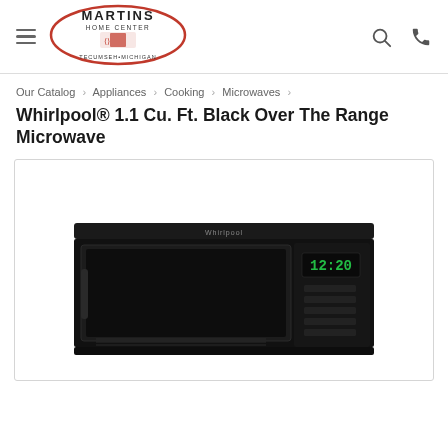[Figure (logo): Martins Home Center oval logo with text 'MARTINS HOME CENTER TECUMSEH-MICHIGAN' and red cardinal bird emblem]
Our Catalog › Appliances › Cooking › Microwaves ›
Whirlpool® 1.1 Cu. Ft. Black Over The Range Microwave
[Figure (photo): Black Whirlpool over-the-range microwave with digital display showing 12:20, viewed from front angle on white background]